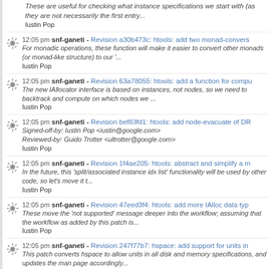These are useful for checking what instance specifications we start with (as they are not necessarily the first entry...
Iustin Pop
12:05 pm snf-ganeti - Revision a30b473c: htools: add two monad-convers... For monadic operations, these function will make it easier to convert other monads (or monad-like structure) to our '...
Iustin Pop
12:05 pm snf-ganeti - Revision 63a78055: htools: add a function for compu... The new IAllocator interface is based on instances, not nodes, so we need to backtrack and compute on which nodes we ...
Iustin Pop
12:05 pm snf-ganeti - Revision bef83fd1: htools: add node-evacuate of DR... Signed-off-by: Iustin Pop <iustin@google.com> Reviewed-by: Guido Trotter <ultrotter@google.com>
Iustin Pop
12:05 pm snf-ganeti - Revision 1f4ae205: htools: abstract and simplify a m... In the future, this 'split/associated instance idx list' functionality will be used by other code, so let's move it t...
Iustin Pop
12:05 pm snf-ganeti - Revision 47eed3f4: htools: add more IAlloc data typ... These move the 'not supported' message deeper into the workflow; assuming that the workflow as added by this patch is...
Iustin Pop
12:05 pm snf-ganeti - Revision 247f77b7: hspace: add support for units in... This patch converts hspace to allow units in all disk and memory specifications, and updates the man page accordingly...
Iustin Pop
12:05 pm snf-ganeti - Revision 1cb92fac: htools: add parseInt function...